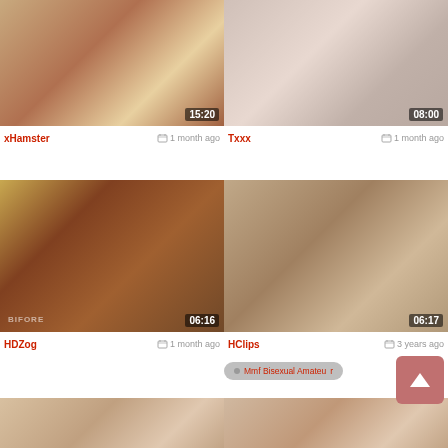[Figure (screenshot): Video thumbnail row 1 left with duration 15:20]
[Figure (screenshot): Video thumbnail row 1 right with duration 08:00]
xHamster   1 month ago
Txxx   1 month ago
[Figure (screenshot): Video thumbnail row 2 left with duration 06:16, watermark BIFORE]
[Figure (screenshot): Video thumbnail row 2 right with duration 06:17]
HDZog   1 month ago
HClips   3 years ago
Mmf Bisexual Amateur
[Figure (screenshot): Video thumbnail row 3 left, partial]
[Figure (screenshot): Video thumbnail row 3 right, partial]